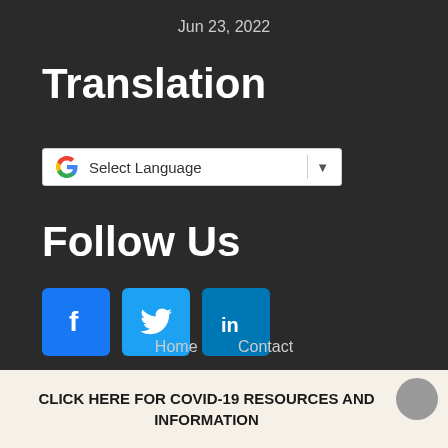Jun 23, 2022
Translation
[Figure (other): Google Translate widget with 'Select Language' dropdown]
Follow Us
[Figure (other): Social media icons: Facebook (blue f), Twitter (blue bird), LinkedIn (blue in)]
Home   Contact
CLICK HERE FOR COVID-19 RESOURCES AND INFORMATION